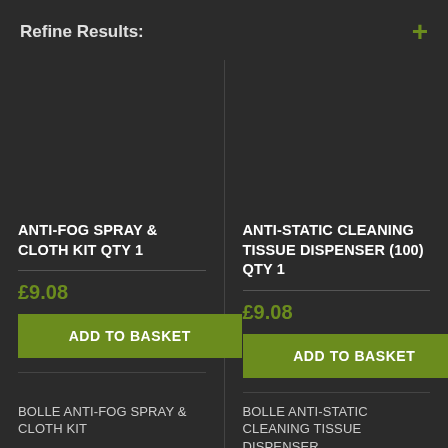Refine Results:
ANTI-FOG SPRAY & CLOTH KIT QTY 1
£9.08
ADD TO BASKET
ANTI-STATIC CLEANING TISSUE DISPENSER (100) QTY 1
£9.08
ADD TO BASKET
BOLLE ANTI-FOG SPRAY & CLOTH KIT
BOLLE ANTI-STATIC CLEANING TISSUE DISPENSER